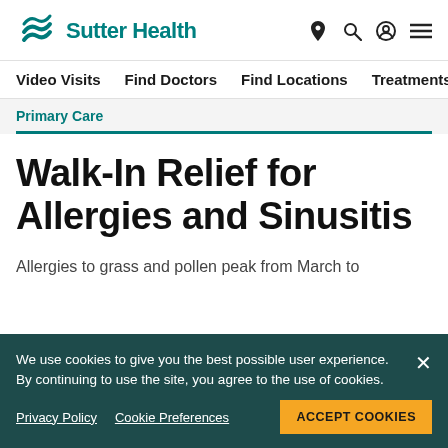Sutter Health — Video Visits  Find Doctors  Find Locations  Treatments
Primary Care
Walk-In Relief for Allergies and Sinusitis
Allergies to grass and pollen peak from March to
We use cookies to give you the best possible user experience. By continuing to use the site, you agree to the use of cookies. Privacy Policy  Cookie Preferences  ACCEPT COOKIES